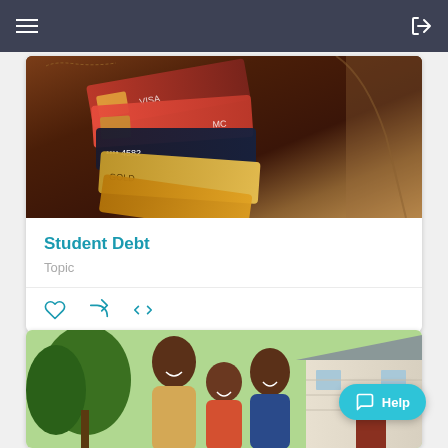Navigation bar with hamburger menu and login icon
[Figure (photo): Close-up photo of a brown leather wallet open with multiple credit cards stacked inside]
Student Debt
Topic
[Figure (photo): Photo of a smiling African American family — father, child, and mother — standing outside a house]